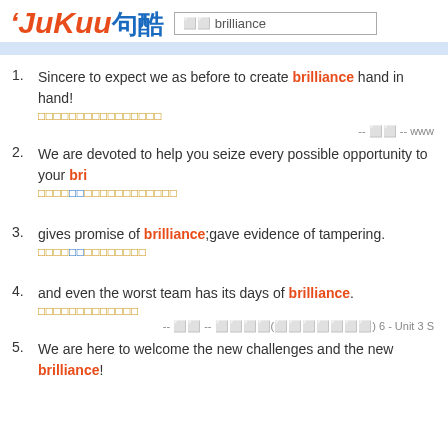JuKuu 句酷 — brilliance search results
1. Sincere to expect we as before to create brilliance hand in hand! [Chinese translation]
2. We are devoted to help you seize every possible opportunity to your bri... [Chinese translation]
3. gives promise of brilliance;gave evidence of tampering. [Chinese translation]
4. and even the worst team has its days of brilliance. [Chinese translation]
5. We are here to welcome the new challenges and the new brilliance!